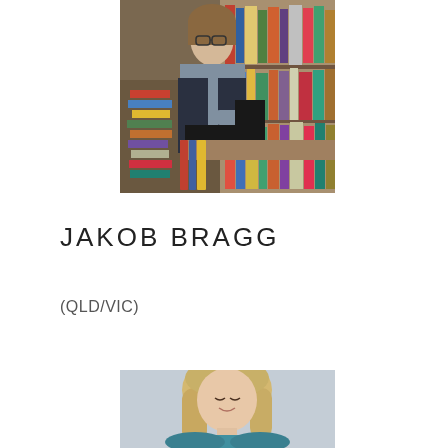[Figure (photo): Person standing in a bookstore or library surrounded by stacks of books and bookshelves, wearing glasses and a gray shirt, looking to the side]
JAKOB BRAGG
(QLD/VIC)
[Figure (photo): Person with blonde shoulder-length hair looking downward and smiling, wearing a teal/blue top, against a light gray background]